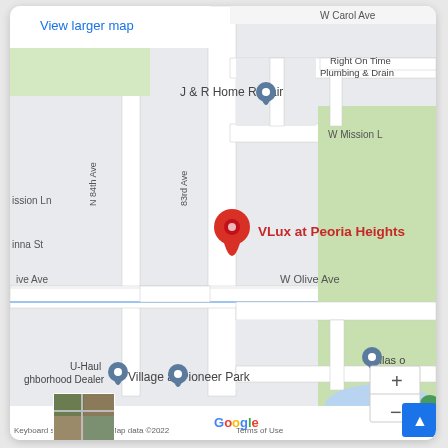[Figure (map): Google Maps screenshot showing VLux at Peoria Heights location near 83rd Ave and W Olive Ave in Peoria, AZ. Shows nearby landmarks including J & R Home Repair, Right On Time Plumbing & Drain, W Carol Ave, W Mission, N 84th Ave, Mission Ln, U-Haul Neighborhood Dealer, Village at Pioneer Park, Villas o[n something], Pioneer Lake. Red location pin marks VLux at Peoria Heights. Bottom shows Google logo, Keyboard shortcuts, Map data ©2022, Terms of Use. Plus/minus zoom controls visible. Satellite thumbnail in bottom left.]